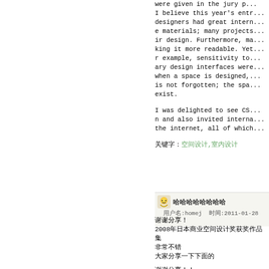were given in the jury p... I believe this year's entr... designers had great intern... e materials; many projects... ir design. Furthermore, ma... king it more readable. Yet... r example, sensitivity to... ary design interfaces were... when a space is designed,... is not forgotten; the spa... exist.

I was delighted to see CS... n and also invited interna... the internet, all of which...
关键字：空间设计,室内设计
用户名:homej 时间:2011-01-28 1...
谢谢分享！
2008年日本商业空间设计奖获奖作品集
非常不错
大家分享一下下面的
谢谢分享！！
2008年日本商业空间设计奖获奖作品集大家分享...